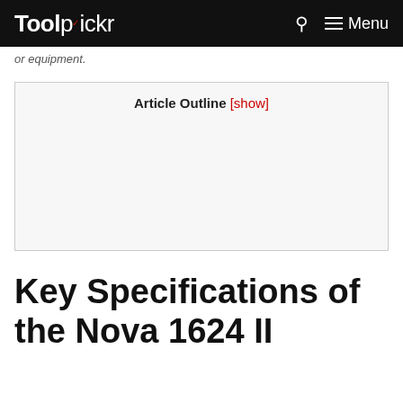Toolpickr — Menu
or equipment.
Article Outline [show]
Key Specifications of the Nova 1624 II